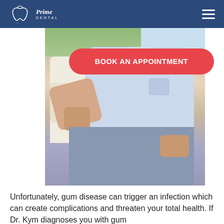Prime Dental
[Figure (photo): Person sitting on a couch wearing a light blue shirt and jeans, relaxed pose, outdoors background visible]
[Figure (other): Red pill-shaped button with text BOOK AN APPOINTMENT in white bold uppercase letters]
Unfortunately, gum disease can trigger an infection which can create complications and threaten your total health. If Dr. Kym diagnoses you with gum